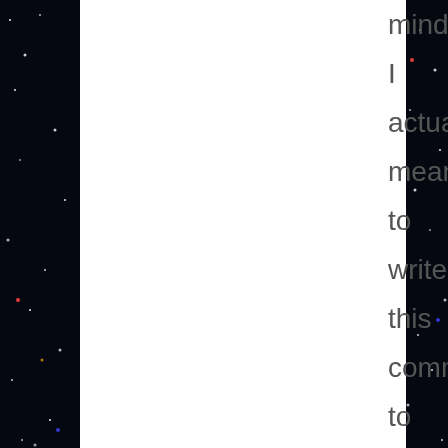[Figure (photo): Dark starfield background (night sky with stars) on left and right sides, with a white panel in the center-left area]
mind? I actually meant to write this comment to the 100 years of Iceland post (great post BTW), but never got the time